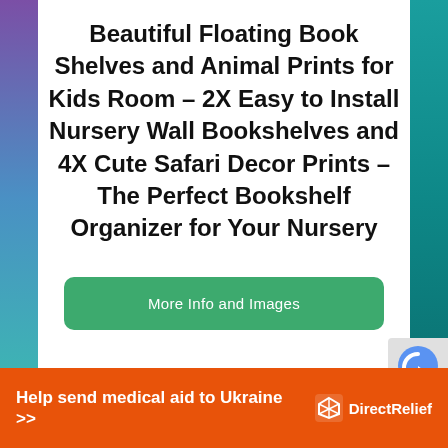Beautiful Floating Book Shelves and Animal Prints for Kids Room – 2X Easy to Install Nursery Wall Bookshelves and 4X Cute Safari Decor Prints – The Perfect Bookshelf Organizer for Your Nursery
More Info and Images
Help send medical aid to Ukraine >>